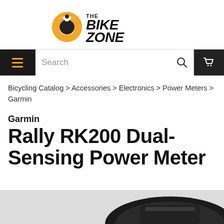[Figure (logo): The Bike Zone logo: orange bicycle gear/chain link icon beside bold italic text 'THE BIKE ZONE']
[Figure (other): Navigation bar with hamburger menu (orange lines), search box, search icon, and shopping cart icon on black background]
Bicycling Catalog > Accessories > Electronics > Power Meters > Garmin
Garmin Rally RK200 Dual-Sensing Power Meter
[Figure (photo): Bottom portion of a Garmin Rally RK200 power meter pedal, black, partially visible at bottom of page]